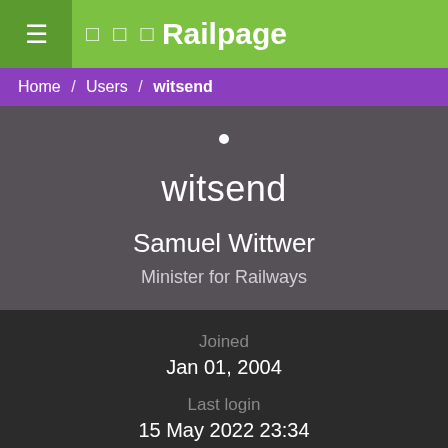≡ □ □ □ Railpage
Home / Users / witsend
witsend
Samuel Wittwer
Minister for Railways
Joined
Jan 01, 2004
Last login
15 May 2022 23:34
Location